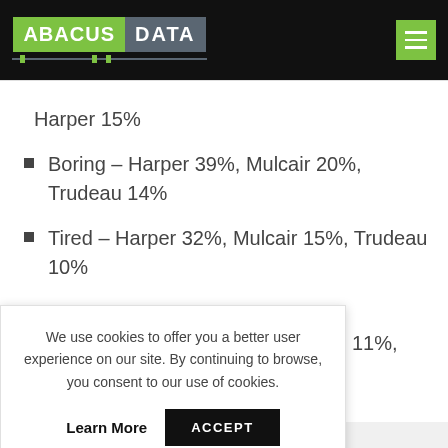ABACUS DATA
Harper 15%
Boring – Harper 39%, Mulcair 20%, Trudeau 14%
Tired – Harper 32%, Mulcair 15%, Trudeau 10%
11%,
We use cookies to offer you a better user experience on our site. By continuing to browse, you consent to our use of cookies. Learn More ACCEPT